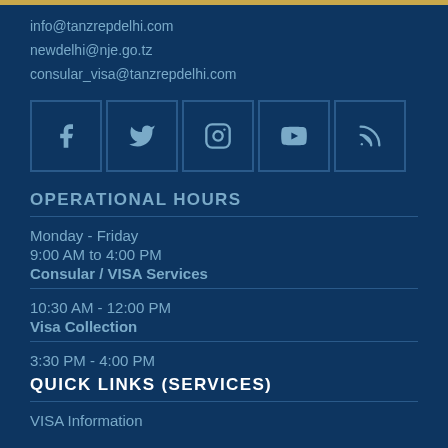info@tanzrepdelhi.com
newdelhi@nje.go.tz
consular_visa@tanzrepdelhi.com
[Figure (other): Row of five social media icon buttons: Facebook, Twitter, Instagram, YouTube, RSS feed]
OPERATIONAL HOURS
Monday - Friday
9:00 AM to 4:00 PM
Consular / VISA Services
10:30 AM - 12:00 PM
Visa Collection
3:30 PM - 4:00 PM
QUICK LINKS (SERVICES)
VISA Information